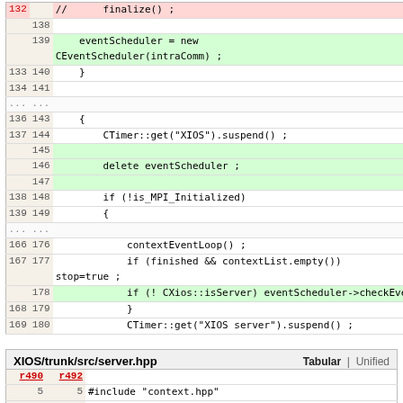| old | new | code |
| --- | --- | --- |
| 132 |  | //      finalize() ; |
|  | 138 |  |
|  | 139 |     eventScheduler = new CEventScheduler(intraComm) ; |
| 133 | 140 |     } |
| 134 | 141 |  |
| ... | ... |  |
| 136 | 143 |     { |
| 137 | 144 |         CTimer::get("XIOS").suspend() ; |
|  | 145 |  |
|  | 146 |         delete eventScheduler ; |
|  | 147 |  |
| 138 | 148 |         if (!is_MPI_Initialized) |
| 139 | 149 |         { |
| ... | ... |  |
| 166 | 176 |             contextEventLoop() ; |
| 167 | 177 |             if (finished && contextList.empty()) stop=true ; |
|  | 178 |             if (! CXios::isServer) eventScheduler->checkEvent() ; |
| 168 | 179 |             } |
| 169 | 180 |             CTimer::get("XIOS server").suspend() ; |
XIOS/trunk/src/server.hpp   Tabular | Unified
| r490 | r492 | code |
| --- | --- | --- |
| 5 | 5 | #include "context.hpp" |
| 6 | 6 | #include "mpi.hpp" |
|  | 7 | #include "event_scheduler.hpp" |
| 7 | 8 |  |
| 8 | 9 | namespace xios |